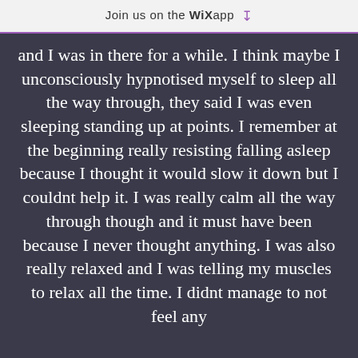Join us on the WiX app ↓
and I was in there for a while. I think maybe I unconsciously hypnotised myself to sleep all the way through, they said I was even sleeping standing up at points. I remember at the beginning really resisting falling asleep because I thought it would slow it down but I couldnt help it. I was really calm all the way through though and it must have been because I never thought anything. I was also really relaxed and I was telling my muscles to relax all the time. I didnt manage to not feel any